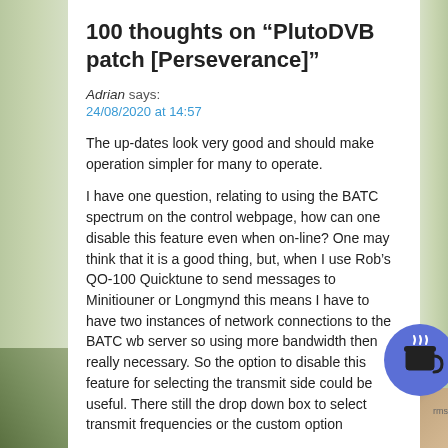100 thoughts on “PlutoDVB patch [Perseverance]”
Adrian says:
24/08/2020 at 14:57
The up-dates look very good and should make operation simpler for many to operate.
I have one question, relating to using the BATC spectrum on the control webpage, how can one disable this feature even when on-line? One may think that it is a good thing, but, when I use Rob’s QO-100 Quicktune to send messages to Minitiouner or Longmynd this means I have to have two instances of network connections to the BATC wb server so using more bandwidth then really necessary. So the option to disable this feature for selecting the transmit side could be useful. There still the drop down box to select transmit frequencies or the custom option